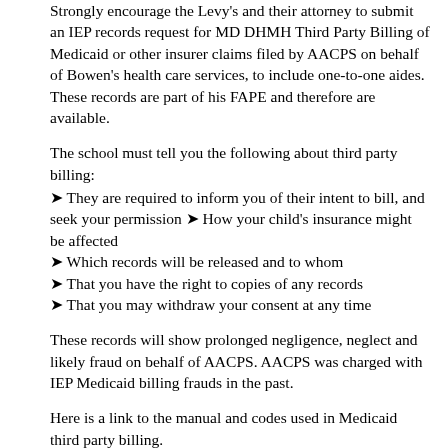Strongly encourage the Levy's and their attorney to submit an IEP records request for MD DHMH Third Party Billing of Medicaid or other insurer claims filed by AACPS on behalf of Bowen's health care services, to include one-to-one aides. These records are part of his FAPE and therefore are available.
The school must tell you the following about third party billing:
➤ They are required to inform you of their intent to bill, and seek your permission ➤ How your child's insurance might be affected
➤ Which records will be released and to whom
➤ That you have the right to copies of any records
➤ That you may withdraw your consent at any time
These records will show prolonged negligence, neglect and likely fraud on behalf of AACPS. AACPS was charged with IEP Medicaid billing frauds in the past.
Here is a link to the manual and codes used in Medicaid third party billing.